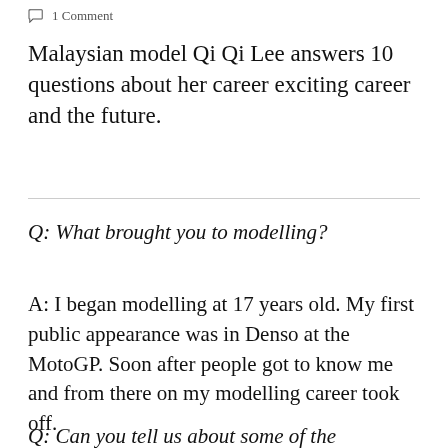1 Comment
Malaysian model Qi Qi Lee answers 10 questions about her career exciting career and the future.
Q: What brought you to modelling?
A: I began modelling at 17 years old. My first public appearance was in Denso at the MotoGP. Soon after people got to know me and from there on my modelling career took off.
Q: Can you tell us about some of the challenges you